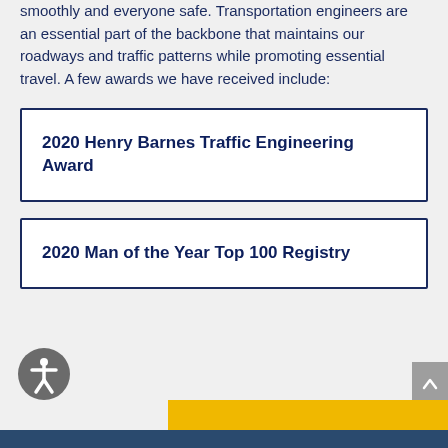smoothly and everyone safe. Transportation engineers are an essential part of the backbone that maintains our roadways and traffic patterns while promoting essential travel. A few awards we have received include:
2020 Henry Barnes Traffic Engineering Award
2020 Man of the Year Top 100 Registry